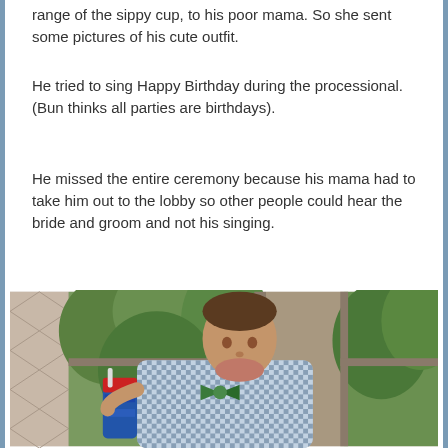range of the sippy cup, to his poor mama. So she sent some pictures of his cute outfit.
He tried to sing Happy Birthday during the processional. (Bun thinks all parties are birthdays).
He missed the entire ceremony because his mama had to take him out to the lobby so other people could hear the bride and groom and not his singing.
[Figure (photo): A young toddler boy in a blue gingham/checkered shirt holding a colorful sippy cup, standing near a window with green trees visible outside. The child is looking over his shoulder at the camera.]